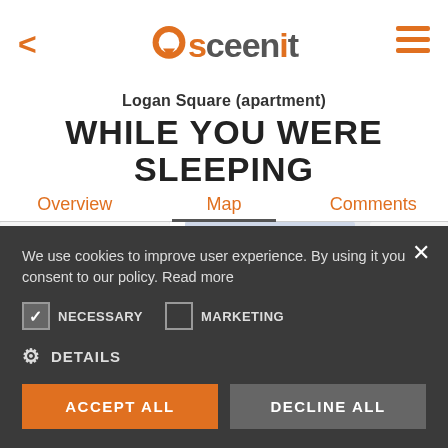[Figure (logo): Sceenit app logo with orange location pin and text]
Logan Square (apartment)
WHILE YOU WERE SLEEPING
Overview   Map   Comments
[Figure (map): Street map preview showing W Logan Blvd area]
We use cookies to improve user experience. By using it you consent to our policy. Read more
NECESSARY (checked)
MARKETING (unchecked)
DETAILS
ACCEPT ALL
DECLINE ALL